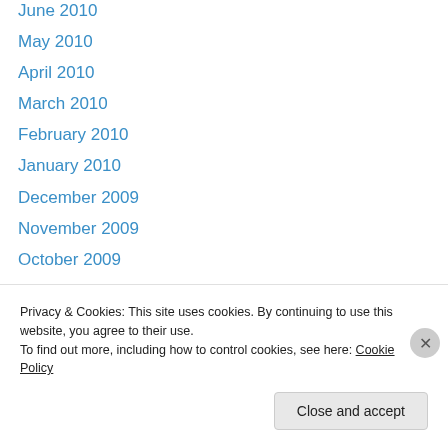June 2010
May 2010
April 2010
March 2010
February 2010
January 2010
December 2009
November 2009
October 2009
September 2009
August 2009
July 2009
June 2009
May 2009
Privacy & Cookies: This site uses cookies. By continuing to use this website, you agree to their use.
To find out more, including how to control cookies, see here: Cookie Policy